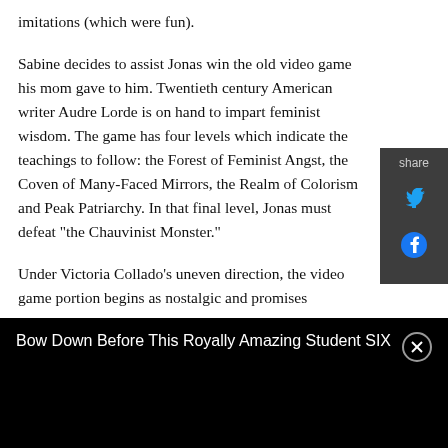imitations (which were fun).
Sabine decides to assist Jonas win the old video game his mom gave to him. Twentieth century American writer Audre Lorde is on hand to impart feminist wisdom. The game has four levels which indicate the teachings to follow: the Forest of Feminist Angst, the Coven of Many-Faced Mirrors, the Realm of Colorism and Peak Patriarchy. In that final level, Jonas must defeat "the Chauvinist Monster."
Under Victoria Collado's uneven direction, the video game portion begins as nostalgic and promises
Bow Down Before This Royally Amazing Student SIX